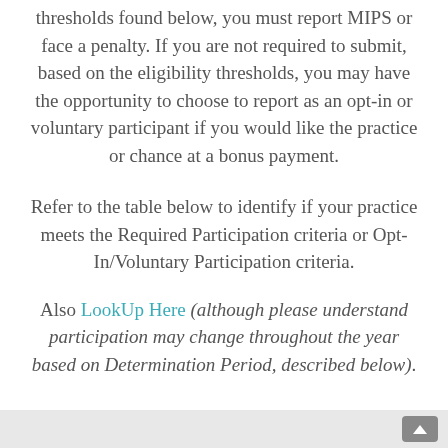thresholds found below, you must report MIPS or face a penalty. If you are not required to submit, based on the eligibility thresholds, you may have the opportunity to choose to report as an opt-in or voluntary participant if you would like the practice or chance at a bonus payment.
Refer to the table below to identify if your practice meets the Required Participation criteria or Opt-In/Voluntary Participation criteria.
Also LookUp Here (although please understand participation may change throughout the year based on Determination Period, described below).